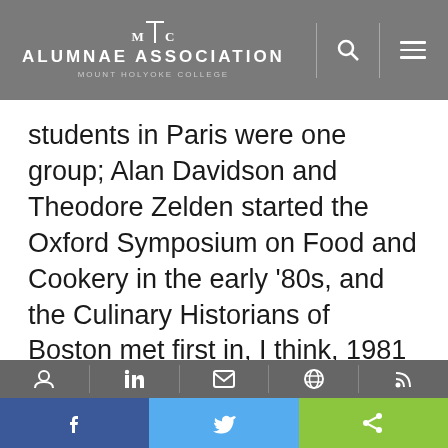MHC ALUMNAE ASSOCIATION MOUNT HOLYOKE COLLEGE
students in Paris were one group; Alan Davidson and Theodore Zelden started the Oxford Symposium on Food and Cookery in the early ‘80s, and the Culinary Historians of Boston met first in, I think, 1981 or ‘82. Phyllis Bober was already teaching a food history course at Bryn Mawr before that. I started in about 1962, and it was 15 years before I met another researcher. Even Karen
Social share bar: Facebook, Twitter, Share